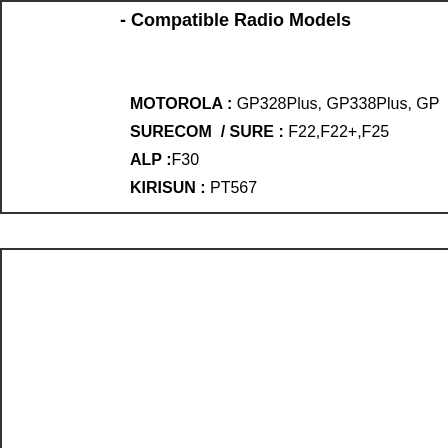- Compatible Radio Models
MOTOROLA : GP328Plus, GP338Plus, GP
SURECOM / SURE : F22,F22+,F25
ALP :F30
KIRISUN : PT567